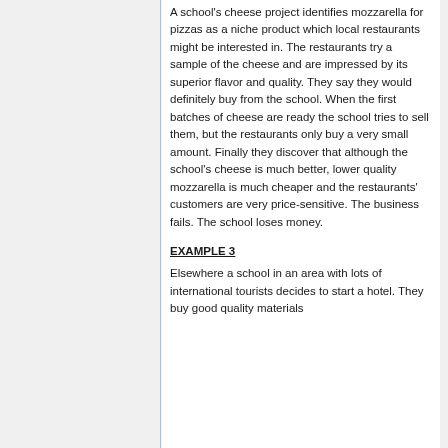A school's cheese project identifies mozzarella for pizzas as a niche product which local restaurants might be interested in. The restaurants try a sample of the cheese and are impressed by its superior flavor and quality. They say they would definitely buy from the school. When the first batches of cheese are ready the school tries to sell them, but the restaurants only buy a very small amount. Finally they discover that although the school's cheese is much better, lower quality mozzarella is much cheaper and the restaurants' customers are very price-sensitive. The business fails. The school loses money.
EXAMPLE 3
Elsewhere a school in an area with lots of international tourists decides to start a hotel. They buy good quality materials